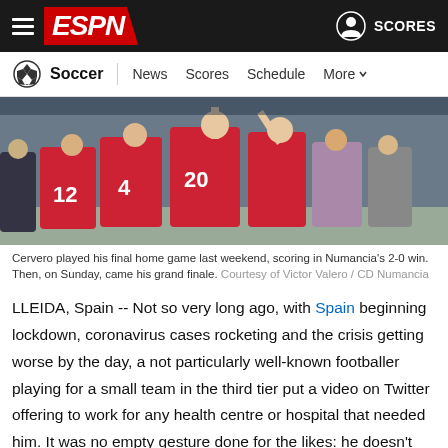ESPN Soccer – News Scores Schedule More | SCORES
[Figure (photo): Soccer players in red/blue jerseys celebrating, numbers 12, 4, 20 visible on backs, inside a tunnel or doorway area]
Cervero played his final home game last weekend, scoring in Numancia's 2-0 win. Then, on Sunday, came his grand finale. Courtesy of Victor Valero / CD Numancia
LLEIDA, Spain -- Not so very long ago, with Spain beginning lockdown, coronavirus cases rocketing and the crisis getting worse by the day, a not particularly well-known footballer playing for a small team in the third tier put a video on Twitter offering to work for any health centre or hospital that needed him. It was no empty gesture done for the likes: he doesn't have Twitter and not only did he immediately start messaging friends, asking them to please let him know if there was any